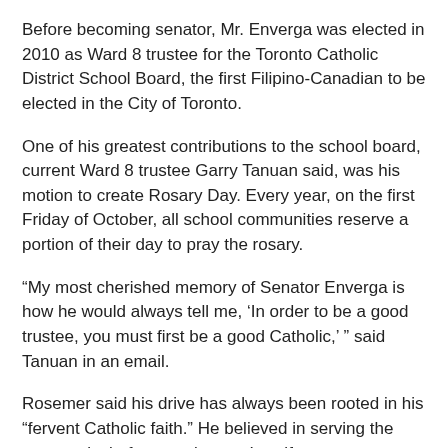Before becoming senator, Mr. Enverga was elected in 2010 as Ward 8 trustee for the Toronto Catholic District School Board, the first Filipino-Canadian to be elected in the City of Toronto.
One of his greatest contributions to the school board, current Ward 8 trustee Garry Tanuan said, was his motion to create Rosary Day. Every year, on the first Friday of October, all school communities reserve a portion of their day to pray the rosary.
“My most cherished memory of Senator Enverga is how he would always tell me, ‘In order to be a good trustee, you must first be a good Catholic,’ ” said Tanuan in an email.
Rosemer said his drive has always been rooted in his “fervent Catholic faith.” He believed in serving the community before serving one’s self.
Mr. Enverga and Rosemer founded the Philippine Canadian Charitable Foundation (PCCF) in 2008. The non-profit organization helps Filipino immigrants, and other newcomers, settle into their Canadian home.